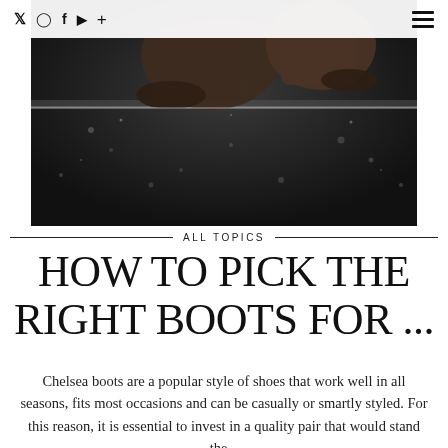Social icons: Twitter, Instagram, Facebook, YouTube, Plus | Hamburger menu
[Figure (photo): Close-up overhead view of brown leather Chelsea boots on a dark wet surface with small stones/pebbles visible]
ALL TOPICS
HOW TO PICK THE RIGHT BOOTS FOR ...
Chelsea boots are a popular style of shoes that work well in all seasons, fits most occasions and can be casually or smartly styled. For this reason, it is essential to invest in a quality pair that would stand the...